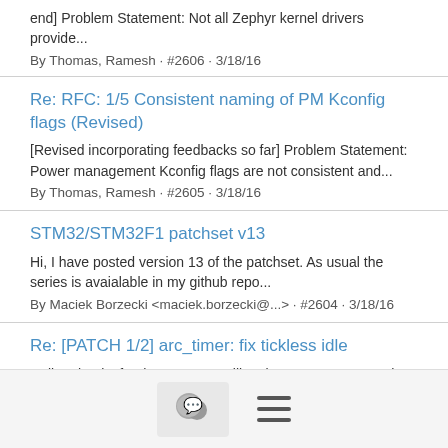end] Problem Statement: Not all Zephyr kernel drivers provide...
By Thomas, Ramesh · #2606 · 3/18/16
Re: RFC: 1/5 Consistent naming of PM Kconfig flags (Revised)
[Revised incorporating feedbacks so far] Problem Statement: Power management Kconfig flags are not consistent and...
By Thomas, Ramesh · #2605 · 3/18/16
STM32/STM32F1 patchset v13
Hi, I have posted version 13 of the patchset. As usual the series is avaialable in my github repo...
By Maciek Borzecki <maciek.borzecki@...> · #2604 · 3/18/16
Re: [PATCH 1/2] arc_timer: fix tickless idle
Hello, Thanks for the answer, I will review my copy. BTW, the same test bench shows no jitter in the Quark TICK. So I would...
By Desfarges, Simon <simon.desfarges@...> · #2603 · 3/18/16
Re: [PATCH 1/2] arc_timer: fix tickless idle